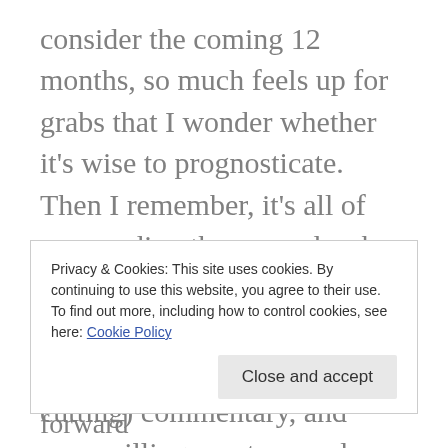consider the coming 12 months, so much feels up for grabs that I wonder whether it's wise to prognosticate. Then I remember, it's all of you reading these words who keep me writing in the first place – your encouragement, your wise (and sometimes cutting) commentary, and your willingness to spend a little time with me and my thoughts. One of my New Year's
Privacy & Cookies: This site uses cookies. By continuing to use this website, you agree to their use.
To find out more, including how to control cookies, see here: Cookie Policy
least a few times a week going forward